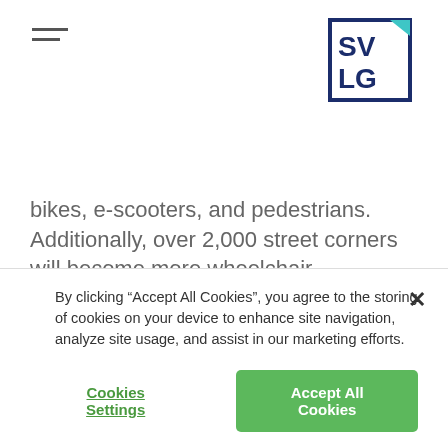SVLG logo and navigation menu
bikes, e-scooters, and pedestrians. Additionally, over 2,000 street corners will become more wheelchair accessible with the addition of ADA curb ramps.
Ahmad Chapman, Office of Mayor Liccardo: 408-535-4840 or ahmad.chapman@sanJoseca.gov
Colin Heyne, Department of Transportation: 408-975-3705 or colin.heyne@sanjoseca.gov
By clicking "Accept All Cookies", you agree to the storing of cookies on your device to enhance site navigation, analyze site usage, and assist in our marketing efforts.